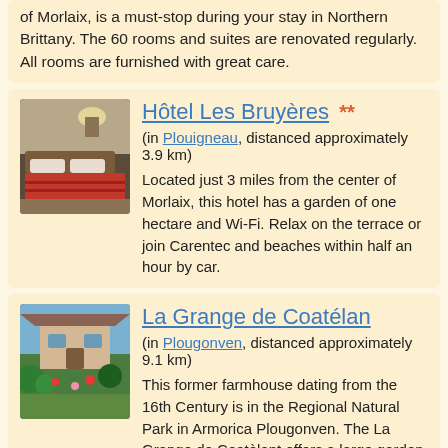of Morlaix, is a must-stop during your stay in Northern Brittany. The 60 rooms and suites are renovated regularly. All rooms are furnished with great care.
Hôtel Les Bruyères **
(in Plouigneau, distanced approximately 3.9 km) Located just 3 miles from the center of Morlaix, this hotel has a garden of one hectare and Wi-Fi. Relax on the terrace or join Carentec and beaches within half an hour by car.
La Grange de Coatélan
(in Plougonven, distanced approximately 9.1 km) This former farmhouse dating from the 16th Century is in the Regional Natural Park in Armorica Plougonven. The La Grange de Coatèlant offers a large garden with garden furniture and sun loungers equipped.